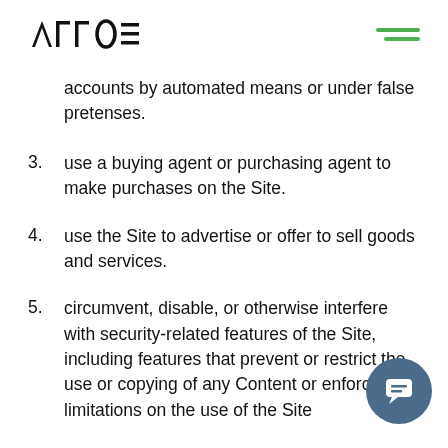АГГОЕ [logo]
accounts by automated means or under false pretenses.
3. use a buying agent or purchasing agent to make purchases on the Site.
4. use the Site to advertise or offer to sell goods and services.
5. circumvent, disable, or otherwise interfere with security-related features of the Site, including features that prevent or restrict the use or copying of any Content or enforce limitations on the use of the Site